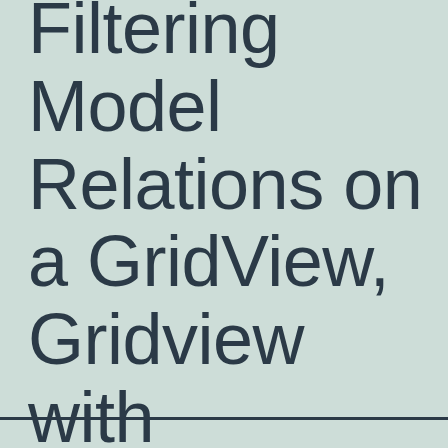Filtering Model Relations on a GridView, Gridview with relationships